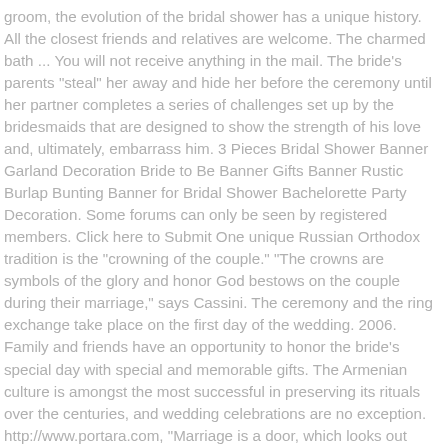groom, the evolution of the bridal shower has a unique history. All the closest friends and relatives are welcome. The charmed bath ... You will not receive anything in the mail. The bride's parents "steal" her away and hide her before the ceremony until her partner completes a series of challenges set up by the bridesmaids that are designed to show the strength of his love and, ultimately, embarrass him. 3 Pieces Bridal Shower Banner Garland Decoration Bride to Be Banner Gifts Banner Rustic Burlap Bunting Banner for Bridal Shower Bachelorette Party Decoration. Some forums can only be seen by registered members. Click here to Submit One unique Russian Orthodox tradition is the "crowning of the couple." "The crowns are symbols of the glory and honor God bestows on the couple during their marriage," says Cassini. The ceremony and the ring exchange take place on the first day of the wedding. 2006. Family and friends have an opportunity to honor the bride's special day with special and memorable gifts. The Armenian culture is amongst the most successful in preserving its rituals over the centuries, and wedding celebrations are no exception. http://www.portara.com, "Marriage is a door, which looks out upon a beautiful view. Cyber This taboo may be avoided by the donor taking a symbolic payment, for example one Russian ruble, in exchange as if it is a